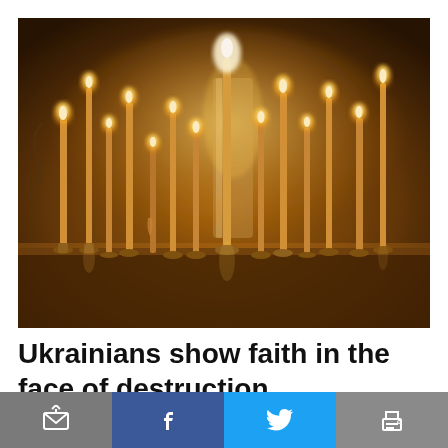[Figure (photo): Photograph of multiple lit candles on ornate golden candleholders arranged on a surface inside what appears to be an Orthodox Christian church, with warm amber tones and a bokeh background.]
Ukrainians show faith in the face of destruction
As Orthodox Christians celebrate the most holy